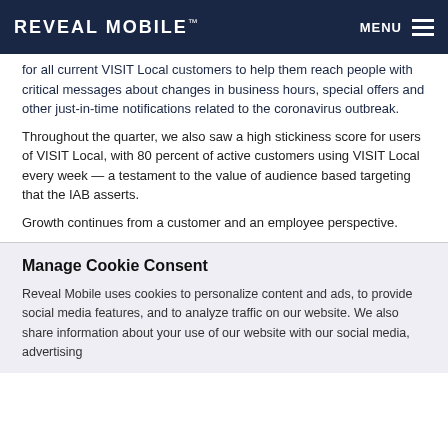REVEAL MOBILE™ — MENU
On the product front, we offer free ad audience creation for all current VISIT Local customers to help them reach people with critical messages about changes in business hours, special offers and other just-in-time notifications related to the coronavirus outbreak.
Throughout the quarter, we also saw a high stickiness score for users of VISIT Local, with 80 percent of active customers using VISIT Local every week — a testament to the value of audience based targeting that the IAB asserts.
Growth continues from a customer and an employee perspective.
Manage Cookie Consent
Reveal Mobile uses cookies to personalize content and ads, to provide social media features, and to analyze traffic on our website. We also share information about your use of our website with our social media, advertising